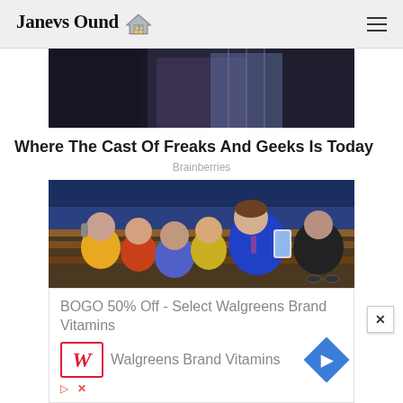Janevs Ound 🏠
[Figure (photo): Cropped photo of a person's torso/shoulders, dark background]
Where The Cast Of Freaks And Geeks Is Today
Brainberries
[Figure (photo): Group of people taking a selfie in what appears to be a legislative chamber, one person in blue suit holding phone]
[Figure (infographic): Advertisement: BOGO 50% Off - Select Walgreens Brand Vitamins, with Walgreens logo and navigation arrow icon]